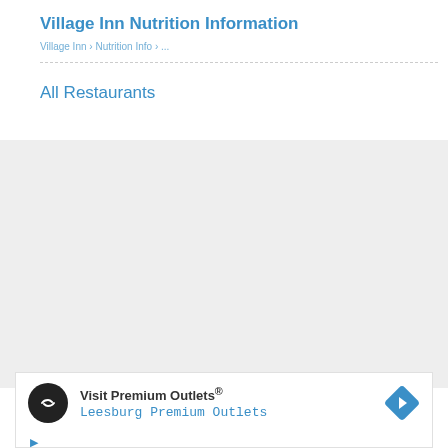Village Inn Nutrition Information
breadcrumb navigation links
All Restaurants
[Figure (other): Gray placeholder content area]
[Figure (other): Advertisement banner: Visit Premium Outlets® Leesburg Premium Outlets, with circular logo icon and blue diamond navigation arrow icon]